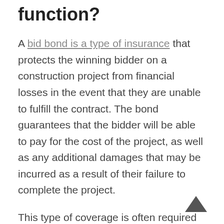coverage, and how does it function?
A bid bond is a type of insurance that protects the winning bidder on a construction project from financial losses in the event that they are unable to fulfill the contract. The bond guarantees that the bidder will be able to pay for the cost of the project, as well as any additional damages that may be incurred as a result of their failure to complete the project.
This type of coverage is often required by companies bidding on large projects, as it helps protect them from potential financial